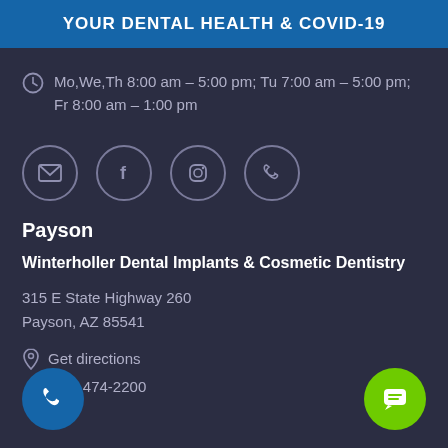YOUR DENTAL HEALTH & COVID-19
Mo,We,Th 8:00 am – 5:00 pm; Tu 7:00 am – 5:00 pm; Fr 8:00 am – 1:00 pm
[Figure (illustration): Four social media / contact icons in circles: email envelope, Facebook f, Instagram camera, phone]
Payson
Winterholler Dental Implants & Cosmetic Dentistry
315 E State Highway 260
Payson, AZ 85541
Get directions
(928) 474-2200